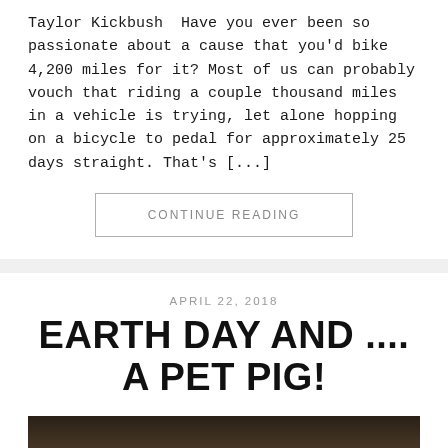Taylor Kickbush  Have you ever been so passionate about a cause that you'd bike 4,200 miles for it? Most of us can probably vouch that riding a couple thousand miles in a vehicle is trying, let alone hopping on a bicycle to pedal for approximately 25 days straight. That's [...]
CONTINUE READING
APRIL 22, 2018
EARTH DAY AND .... A PET PIG!
[Figure (photo): A dark photograph partially visible at the bottom of the page]